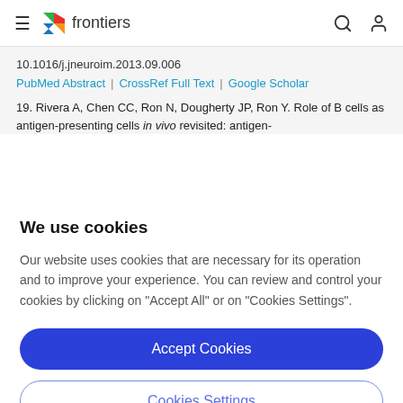frontiers
10.1016/j.jneuroim.2013.09.006
PubMed Abstract | CrossRef Full Text | Google Scholar
19. Rivera A, Chen CC, Ron N, Dougherty JP, Ron Y. Role of B cells as antigen-presenting cells in vivo revisited: antigen-specific B cells are essential for T cell expansion in vivo but not...
We use cookies
Our website uses cookies that are necessary for its operation and to improve your experience. You can review and control your cookies by clicking on "Accept All" or on "Cookies Settings".
Accept Cookies
Cookies Settings